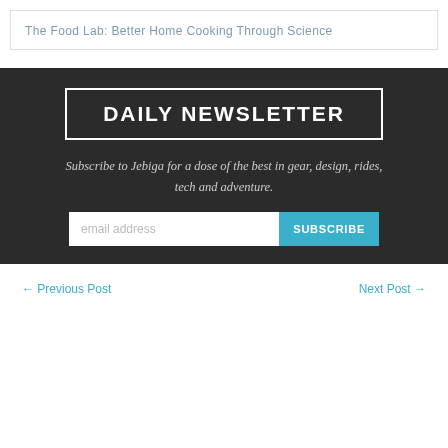The Food Lab: Better Home Cooking Through Science
DAILY NEWSLETTER
Subscribe to Jebiga for a dose of the best in gear, design, rides, tech and adventure.
email address
SUBSCRIBE
← Previous Post
Next Post →